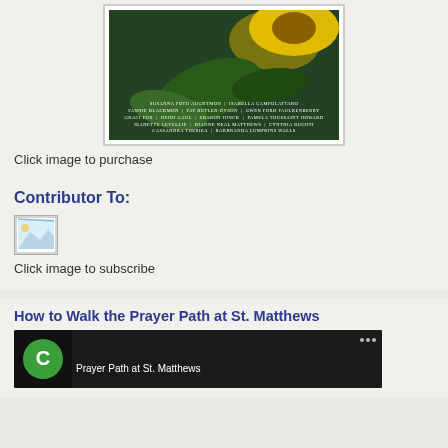[Figure (photo): Book cover image with sunflower and dark green botanical background, with author names listed in white text overlay]
Click image to purchase
Contributor To:
[Figure (photo): Small thumbnail image placeholder]
Click image to subscribe
How to Walk the Prayer Path at St. Matthews
[Figure (screenshot): Video thumbnail showing a green circle with letter C and text Prayer Path at St. Matthews on dark background]